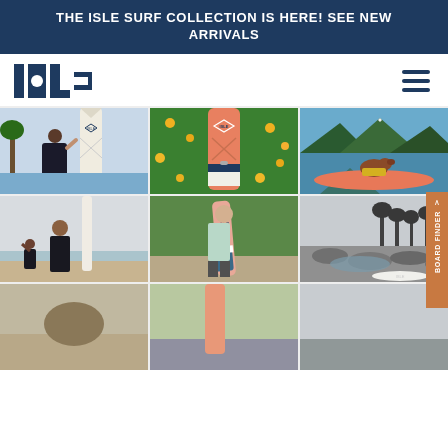THE ISLE SURF COLLECTION IS HERE! SEE NEW ARRIVALS
[Figure (logo): ISLE brand logo in dark navy blue block letters]
[Figure (photo): Woman holding a white ISLE paddleboard near water with palm trees]
[Figure (photo): Orange ISLE inflatable paddleboard standing upright among yellow wildflowers]
[Figure (photo): Dog in a yellow life jacket on a pink paddleboard on a lake with mountains]
[Figure (photo): Woman and child with a tall white paddleboard on a beach]
[Figure (photo): Man carrying a pink and teal ISLE surfboard along a path]
[Figure (photo): ISLE paddleboard lying near rocky shoreline with palm trees in background]